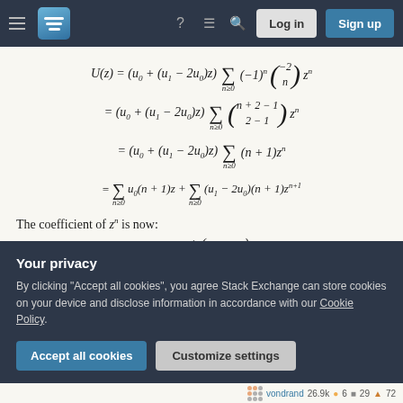Stack Exchange navigation bar with hamburger menu, logo, question mark, comment, search icons, Log in and Sign up buttons
The coefficient of z^n is now:
Your privacy
By clicking "Accept all cookies", you agree Stack Exchange can store cookies on your device and disclose information in accordance with our Cookie Policy.
Accept all cookies | Customize settings